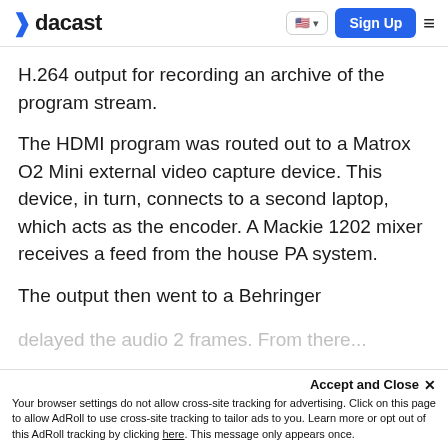dacast | Sign Up
H.264 output for recording an archive of the program stream.
The HDMI program was routed out to a Matrox O2 Mini external video capture device. This device, in turn, connects to a second laptop, which acts as the encoder. A Mackie 1202 mixer receives a feed from the house PA system.
The output then went to a Behringer
delayed the audio 2 frames. From there...
Accept and Close ✕
Your browser settings do not allow cross-site tracking for advertising. Click on this page to allow AdRoll to use cross-site tracking to tailor ads to you. Learn more or opt out of this AdRoll tracking by clicking here. This message only appears once.